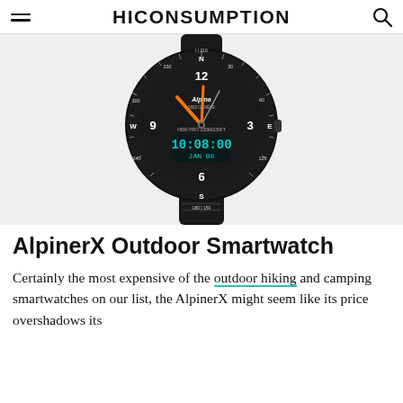HICONSUMPTION
[Figure (photo): Black Alpina AlpinerX Outdoor Smartwatch with compass bezel, analog hands (orange), and digital display showing 10:08:00, JAN 08, on a black rubber strap, shown on light grey background.]
AlpinerX Outdoor Smartwatch
Certainly the most expensive of the outdoor hiking and camping smartwatches on our list, the AlpinerX might seem like its price overshadows its